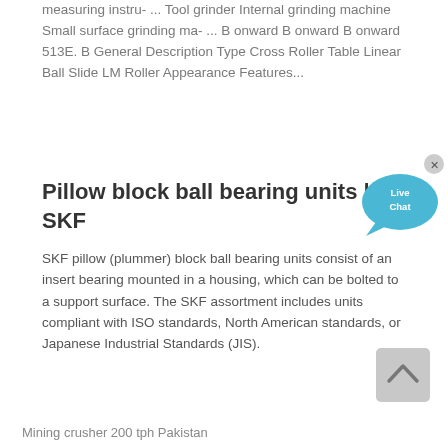measuring instru- ... Tool grinder Internal grinding machine Small surface grinding ma- ... B onward B onward B onward 513E. B General Description Type Cross Roller Table Linear Ball Slide LM Roller Appearance Features...
Pillow block ball bearing units | SKF
[Figure (illustration): Live Chat speech bubble icon in teal/blue color with 'Live Chat' text, and a close/X button in the top right corner]
SKF pillow (plummer) block ball bearing units consist of an insert bearing mounted in a housing, which can be bolted to a support surface. The SKF assortment includes units compliant with ISO standards, North American standards, or Japanese Industrial Standards (JIS).
[Figure (illustration): Scroll-to-top button: light gray rounded rectangle with an upward-pointing chevron/caret arrow]
Mining crusher 200 tph Pakistan